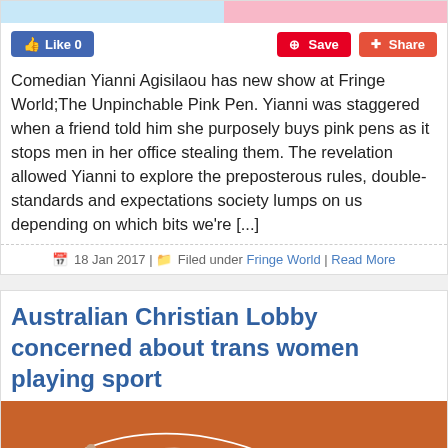[Figure (photo): Top strip image partially visible - light blue and pink halves]
Like 0   Save   Share
Comedian Yianni Agisilaou has new show at Fringe World;The Unpinchable Pink Pen. Yianni was staggered when a friend told him she purposely buys pink pens as it stops men in her office stealing them. The revelation allowed Yianni to explore the preposterous rules, double-standards and expectations society lumps on us depending on which bits we're [...]
18 Jan 2017 | Filed under Fringe World | Read More
Australian Christian Lobby concerned about trans women playing sport
[Figure (photo): Athletes running on an orange athletics track with white lane markings, viewed from above]